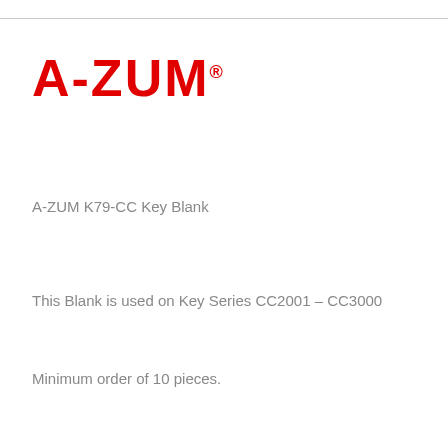[Figure (logo): A-ZUM registered trademark logo in bold red text]
A-ZUM K79-CC Key Blank
This Blank is used on Key Series CC2001 – CC3000
Minimum order of 10 pieces.